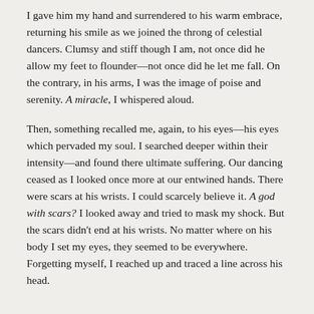I gave him my hand and surrendered to his warm embrace, returning his smile as we joined the throng of celestial dancers. Clumsy and stiff though I am, not once did he allow my feet to flounder—not once did he let me fall. On the contrary, in his arms, I was the image of poise and serenity. A miracle, I whispered aloud.
Then, something recalled me, again, to his eyes—his eyes which pervaded my soul. I searched deeper within their intensity—and found there ultimate suffering. Our dancing ceased as I looked once more at our entwined hands. There were scars at his wrists. I could scarcely believe it. A god with scars? I looked away and tried to mask my shock. But the scars didn't end at his wrists. No matter where on his body I set my eyes, they seemed to be everywhere. Forgetting myself, I reached up and traced a line across his head.